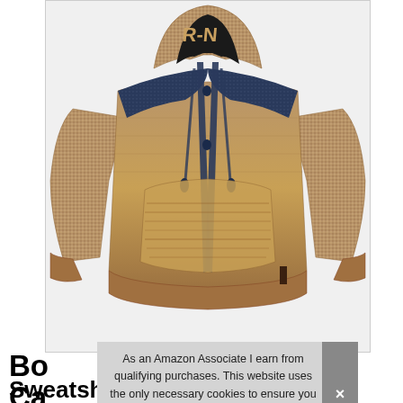[Figure (photo): A brown/tan knitted hooded sweatshirt with navy blue accents on the hood, shoulders, and zipper placket. The hoodie has long sleeves, a kangaroo pocket, and visible knit texture throughout. Partial brand lettering visible on the hood.]
As an Amazon Associate I earn from qualifying purchases. This website uses the only necessary cookies to ensure you get the best experience on our website. More information
Bo Ca Sweatshirt Long Sleeve Knitted Top